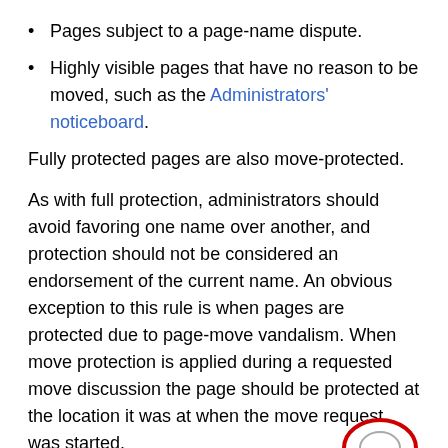Pages subject to a page-name dispute.
Highly visible pages that have no reason to be moved, such as the Administrators' noticeboard.
Fully protected pages are also move-protected.
As with full protection, administrators should avoid favoring one name over another, and protection should not be considered an endorsement of the current name. An obvious exception to this rule is when pages are protected due to page-move vandalism. When move protection is applied during a requested move discussion the page should be protected at the location it was at when the move request was started.
Upload protection